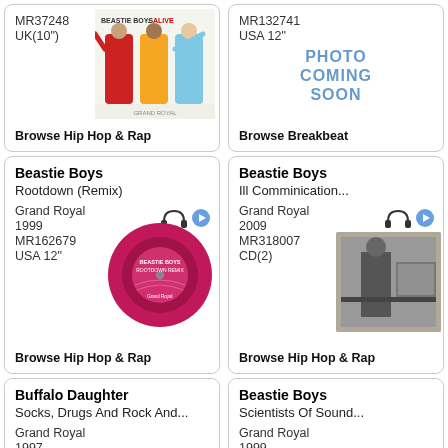MR37248
UK(10")
[Figure (photo): Beastie Boys - Alive album cover showing three members in colorful tracksuits]
Browse Hip Hop & Rap
MR132741
USA 12"
PHOTO COMING SOON
Browse Breakbeat
Beastie Boys
Rootdown (Remix)
Grand Royal
1999
MR162679
USA 12"
[Figure (photo): Pink vinyl record label for Beastie Boys Rootdown Remix]
Browse Hip Hop & Rap
Beastie Boys
Ill Comminication...
Grand Royal
2009
MR318007
CD(2)
[Figure (photo): Beastie Boys Ill Communication album cover black and white photo]
Browse Hip Hop & Rap
Buffalo Daughter
Socks, Drugs And Rock And...
Grand Royal
1997
MR259236
Beastie Boys
Scientists Of Sound...
Grand Royal
1999
MR74400